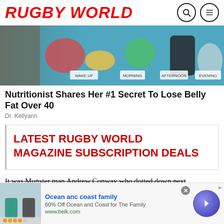RUGBY WORLD
[Figure (photo): Banner image showing food items with labels: WAKE UP, MORNING, AFTERNOON, EVENING]
Nutritionist Shares Her #1 Secret To Lose Belly Fat Over 40
Dr. Kellyann
LATEST RUGBY WORLD MAGAZINE SUBSCRIPTION DEALS
It was Munster man Andrew Conway who dotted down next…
[Figure (infographic): Bottom advertisement banner: Ocean anc coast family. 60% Off Ocean and Coast for The Family. www.belk.com]